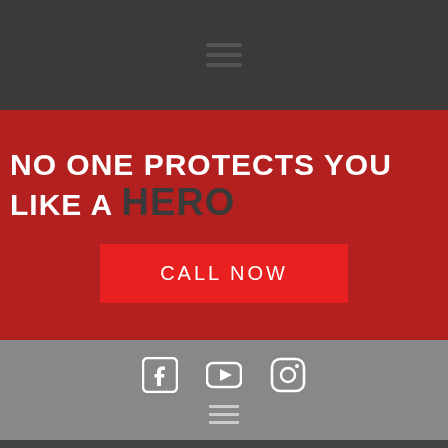Navigation bar with hamburger menu icon
NO ONE PROTECTS YOU LIKE A HERO
CALL NOW
[Figure (infographic): Social media icons: Facebook, YouTube, Instagram, and a hamburger menu icon on gray background]
© 2021 HERO exteriors. All Rights Reserved. | Privacy Policy of HERO exteriors | Sitemap of HERO exteriors Website Design & SEO by Schure Consulting LLC
Get Your Free Inspection